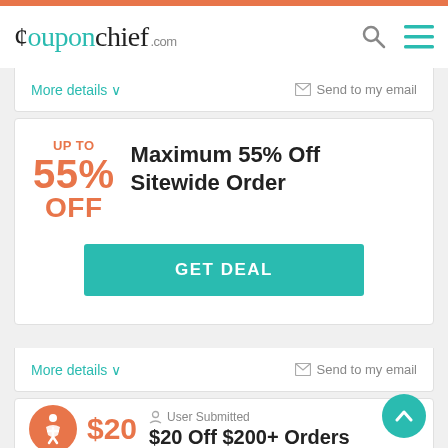couponchief .com
More details ∨   Send to my email
UP TO 55% OFF  Maximum 55% Off Sitewide Order  GET DEAL
More details ∨   Send to my email
User Submitted  $20 Off $200+ Orders